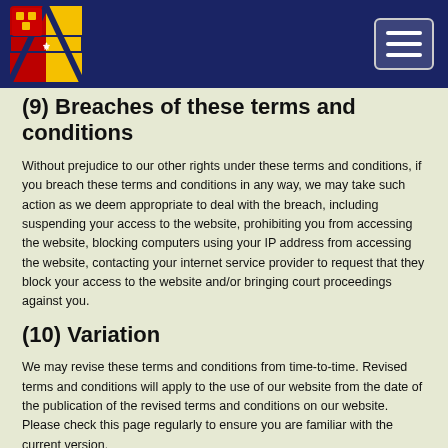(9) Breaches of these terms and conditions
Without prejudice to our other rights under these terms and conditions, if you breach these terms and conditions in any way, we may take such action as we deem appropriate to deal with the breach, including suspending your access to the website, prohibiting you from accessing the website, blocking computers using your IP address from accessing the website, contacting your internet service provider to request that they block your access to the website and/or bringing court proceedings against you.
(10) Variation
We may revise these terms and conditions from time-to-time. Revised terms and conditions will apply to the use of our website from the date of the publication of the revised terms and conditions on our website. Please check this page regularly to ensure you are familiar with the current version.